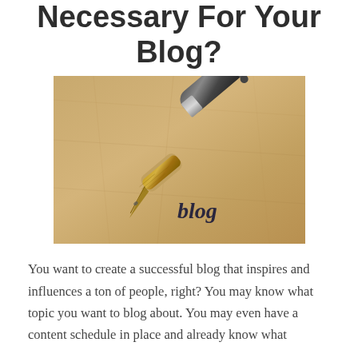Necessary For Your Blog?
[Figure (photo): Close-up photo of a fountain pen nib resting on a textured beige paper surface with the word 'blog' printed in dark serif font on the paper.]
You want to create a successful blog that inspires and influences a ton of people, right? You may know what topic you want to blog about. You may even have a content schedule in place and already know what